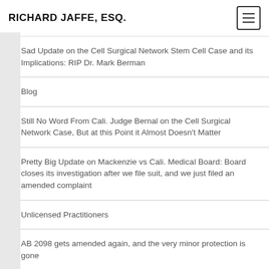RICHARD JAFFE, ESQ.
Sad Update on the Cell Surgical Network Stem Cell Case and its Implications: RIP Dr. Mark Berman
Blog
Still No Word From Cali. Judge Bernal on the Cell Surgical Network Case, But at this Point it Almost Doesn't Matter
Pretty Big Update on Mackenzie vs Cali. Medical Board: Board closes its investigation after we file suit, and we just filed an amended complaint
Unlicensed Practitioners
AB 2098 gets amended again, and the very minor protection is gone